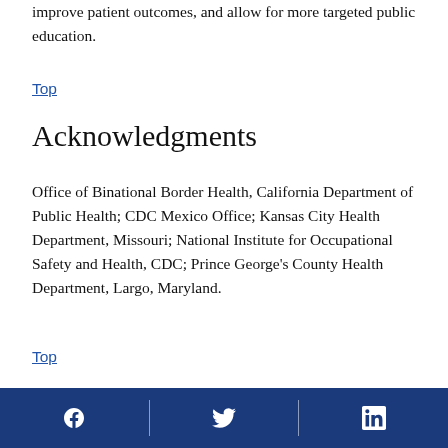improve patient outcomes, and allow for more targeted public education.
Top
Acknowledgments
Office of Binational Border Health, California Department of Public Health; CDC Mexico Office; Kansas City Health Department, Missouri; National Institute for Occupational Safety and Health, CDC; Prince George's County Health Department, Largo, Maryland.
Top
Corresponding author: Mitsuru Toda, MToda@cdc.gov, 404-718-6784
Social media links: Facebook, Twitter, LinkedIn